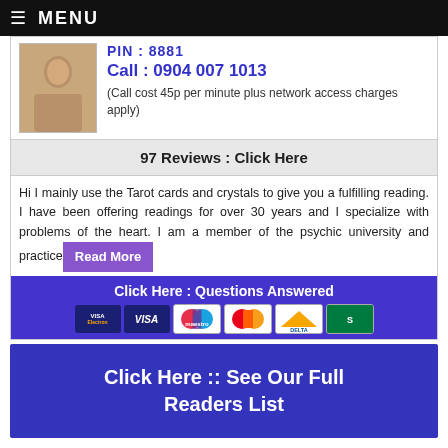≡ MENU
PIN : 8881
Call : 0904 007 1013
(Call cost 45p per minute plus network access charges apply)
97 Reviews : Click Here
Hi I mainly use the Tarot cards and crystals to give you a fulfilling reading. I have been offering readings for over 30 years and I specialize with problems of the heart. I am a member of the psychic university and practice
Read More
Click Here : Questions Answered
Click Here :: See Our Full Readers List